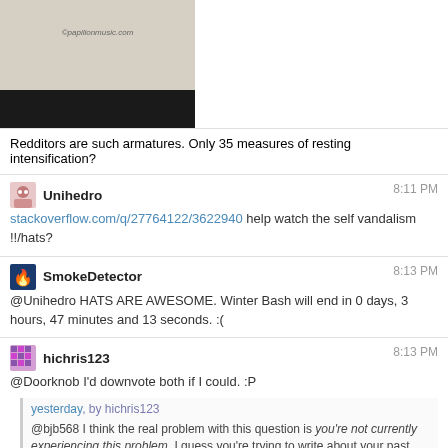[Figure (photo): Partial photo of sheet music or printed page with watermark text 'papilionmusic.com', dark bar at bottom]
Redditors are such armatures. Only 35 measures of resting intensification?
Unihedro  8:11 PM
stackoverflow.com/q/27764122/3622940 help watch the self vandalism
!!/hats?
SmokeDetector  8:13 PM
@Unihedro HATS ARE AWESOME. Winter Bash will end in 0 days, 3 hours, 47 minutes and 13 seconds. :(
hichris123  8:13 PM
@Doorknob I'd downvote both if I could. :P
yesterday, by hichris123
@bjb568 I think the real problem with this question is you're not currently experiencing this problem. I guess you're trying to write about your past self... but it's fairly hard to tell context ~1 year in the past.
Unihedro  8:13 PM
:( So it would have gone by the time I wake up
yes, you right, but i tried so much, unfortunately stackoverflow didnt accept my question and i had to post it here — desatir7316 1 min ago